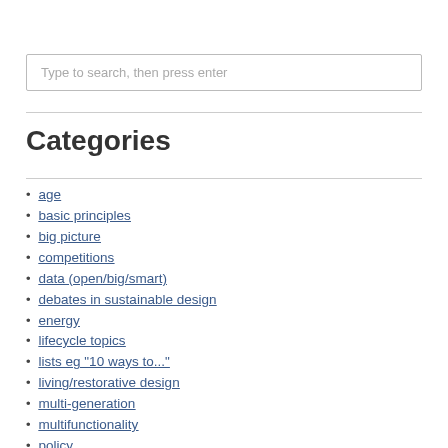Type to search, then press enter
Categories
age
basic principles
big picture
competitions
data (open/big/smart)
debates in sustainable design
energy
lifecycle topics
lists eg "10 ways to..."
living/restorative design
multi-generation
multifunctionality
policy